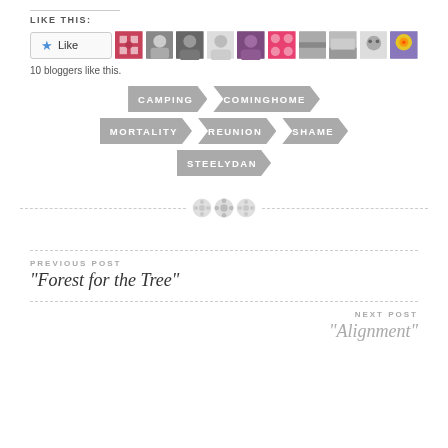LIKE THIS:
[Figure (other): Like button with star icon and 10 blogger avatar thumbnails]
10 bloggers like this.
[Figure (infographic): Tag badges: CAMPING, COMINGHOME, MORTALITY, REUNION, SHAME, STEELYDAN]
[Figure (other): Decorative divider with three button icons and dashed lines]
PREVIOUS POST
“Forest for the Tree”
NEXT POST
“Alignment”